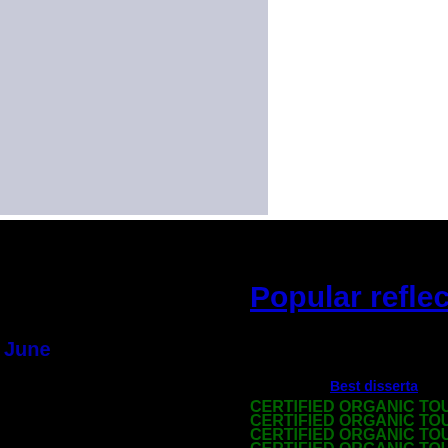[Figure (other): Gray rectangle in upper left corner on white background]
Popular reflecti
June
Best disserta
CERTIFIED ORGANIC TOUR
CERTIFIED ORGANIC TOUR
CERTIFIED ORGANIC TOUR
CERTIFIED ORGANIC TOUR